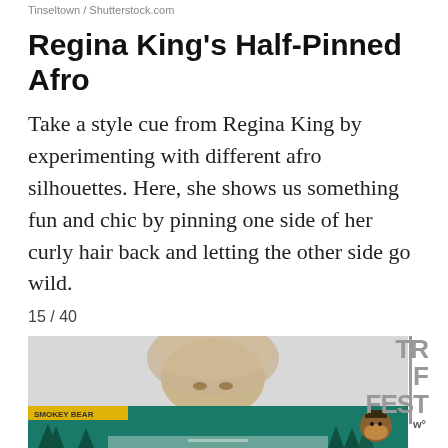Tinseltown / Shutterstock.com
Regina King's Half-Pinned Afro
Take a style cue from Regina King by experimenting with different afro silhouettes. Here, she shows us something fun and chic by pinning one side of her curly hair back and letting the other side go wild.
15 / 40
[Figure (photo): Photo of Regina King with a half-pinned afro hairstyle at Tribeca Film Festival. An advertisement banner for Smokey Bear appears at the bottom of the image. The Tribeca Film Festival logo (TR F FEST) is visible on the right side.]